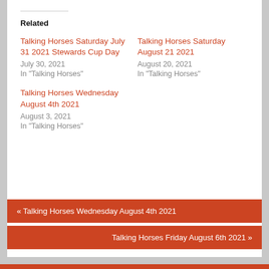Related
Talking Horses Saturday July 31 2021 Stewards Cup Day
July 30, 2021
In "Talking Horses"
Talking Horses Saturday August 21 2021
August 20, 2021
In "Talking Horses"
Talking Horses Wednesday August 4th 2021
August 3, 2021
In "Talking Horses"
« Talking Horses Wednesday August 4th 2021
Talking Horses Friday August 6th 2021 »